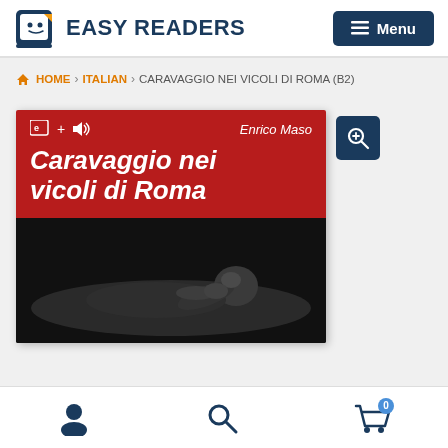[Figure (logo): Easy Readers logo with tablet/book icon and text]
HOME > ITALIAN > CARAVAGGIO NEI VICOLI DI ROMA (B2)
[Figure (illustration): Book cover for 'Caravaggio nei vicoli di Roma' by Enrico Maso. Red header with white bold italic title and icons, black and white photo of reclining figure below.]
[Figure (other): Bottom navigation bar with user/account icon, search icon, and shopping cart icon with badge showing 0]